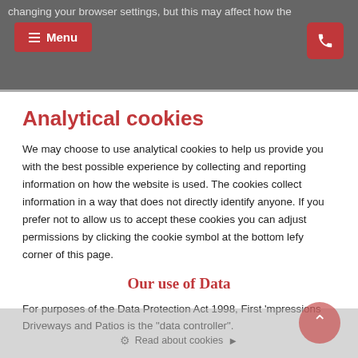changing your browser settings, but this may affect how the functions. [Menu button] [Phone button]
Analytical cookies
We may choose to use analytical cookies to help us provide you with the best possible experience by collecting and reporting information on how the website is used. The cookies collect information in a way that does not directly identify anyone. If you prefer not to allow us to accept these cookies you can adjust permissions by clicking the cookie symbol at the bottom lefy corner of this page.
Our use of Data
For purposes of the Data Protection Act 1998, First Impressions Driveways and Patios is the "data controller".